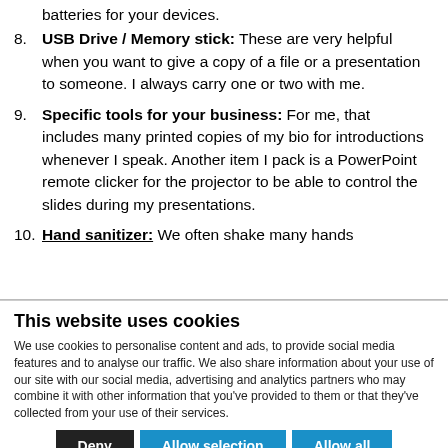batteries for your devices.
USB Drive / Memory stick: These are very helpful when you want to give a copy of a file or a presentation to someone. I always carry one or two with me.
Specific tools for your business: For me, that includes many printed copies of my bio for introductions whenever I speak. Another item I pack is a PowerPoint remote clicker for the projector to be able to control the slides during my presentations.
Hand sanitizer: We often shake many hands...
This website uses cookies
We use cookies to personalise content and ads, to provide social media features and to analyse our traffic. We also share information about your use of our site with our social media, advertising and analytics partners who may combine it with other information that you've provided to them or that they've collected from your use of their services.
Deny | Allow selection | Allow all
Necessary | Preferences | Statistics | Marketing | Show details